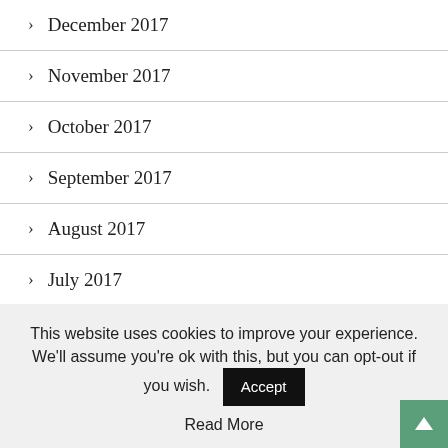> December 2017
> November 2017
> October 2017
> September 2017
> August 2017
> July 2017
> June 2017
> May 2017
This website uses cookies to improve your experience. We’ll assume you’re ok with this, but you can opt-out if you wish.
Read More